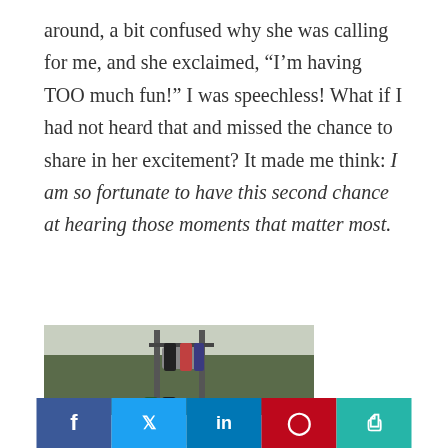around, a bit confused why she was calling for me, and she exclaimed, “I’m having TOO much fun!” I was speechless! What if I had not heard that and missed the chance to share in her excitement? It made me think: I am so fortunate to have this second chance at hearing those moments that matter most.
[Figure (photo): Photo of people sitting on a ski lift with snowy terrain below]
Social sharing bar with Facebook, Twitter, LinkedIn, Pinterest, and Print buttons